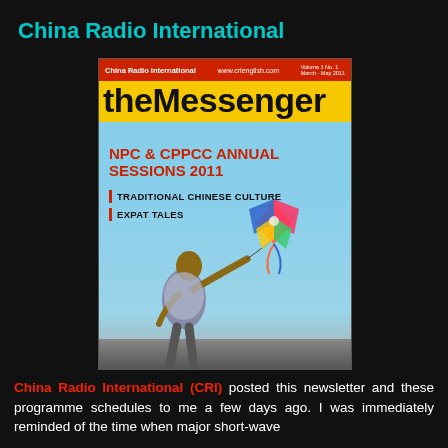China Radio International
[Figure (photo): Cover of 'theMessenger' magazine by China Radio International. Red top bar with 'China Radio International' and 'www.crienglish.com'. Yellow title bar with 'theMessenger' in large black bold font. Red headline text: 'NPC & CPPCC ANNUAL SESSIONS 2011'. Black subheadings: 'TRADITIONAL CHINESE CULTURE' and 'EXPAT TALES'. Lower half shows a photo of a man flying a colorful kite against a blue sky.]
China Radio International (CRI) posted this newsletter and these programme schedules to me a few days ago. I was immediately reminded of the time when major short-wave